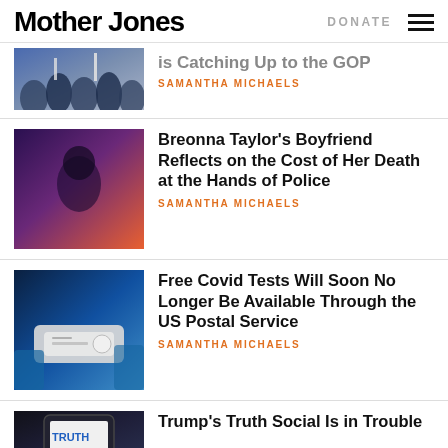Mother Jones | DONATE
[Figure (photo): Partial article thumbnail showing protest crowd, partially cut off at top]
is Catching Up to the GOP
SAMANTHA MICHAELS
[Figure (photo): Man standing in front of Breonna Taylor mural]
Breonna Taylor’s Boyfriend Reflects on the Cost of Her Death at the Hands of Police
SAMANTHA MICHAELS
[Figure (photo): Gloved hand holding a rapid COVID test device]
Free Covid Tests Will Soon No Longer Be Available Through the US Postal Service
SAMANTHA MICHAELS
[Figure (photo): Smartphone showing Truth Social app logo]
Trump’s Truth Social Is in Trouble